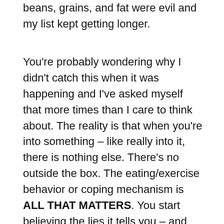beans, grains, and fat were evil and my list kept getting longer.
You're probably wondering why I didn't catch this when it was happening and I've asked myself that more times than I care to think about. The reality is that when you're into something – like really into it, there is nothing else. There's no outside the box. The eating/exercise behavior or coping mechanism is ALL THAT MATTERS. You start believing the lies it tells you – and with 100% honesty, I can say that I was truly convinced that there was something physically wrong with me and that was the reason for my low weight and for how I was feeling. The last thought that crossed my mind was that it was my eating disorder – AGAIN. I spent thousands of dollars on a functional medicine doctor and tests to